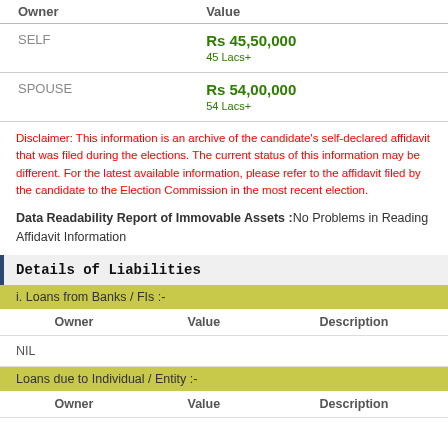| Owner | Value |
| --- | --- |
| SELF | Rs 45,50,000
45 Lacs+ |
| SPOUSE | Rs 54,00,000
54 Lacs+ |
Disclaimer: This information is an archive of the candidate's self-declared affidavit that was filed during the elections. The current status of this information may be different. For the latest available information, please refer to the affidavit filed by the candidate to the Election Commission in the most recent election.
Data Readability Report of Immovable Assets :No Problems in Reading Affidavit Information
Details of Liabilities
| Owner | Value | Description |
| --- | --- | --- |
| NIL |  |  |
| Owner | Value | Description |
| --- | --- | --- |